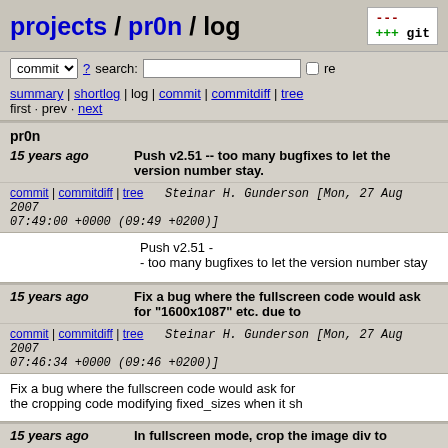projects / pr0n / log
commit search: re
summary | shortlog | log | commit | commitdiff | tree
first · prev · next
pr0n
15 years ago   Push v2.51 -- too many bugfixes to let the version number stay.
commit | commitdiff | tree   Steinar H. Gunderson [Mon, 27 Aug 2007 07:49:00 +0000 (09:49 +0200)]
Push v2.51 -
- too many bugfixes to let the version number stay
15 years ago   Fix a bug where the fullscreen code would ask for "1600x1087" etc. due to
commit | commitdiff | tree   Steinar H. Gunderson [Mon, 27 Aug 2007 07:46:34 +0000 (09:46 +0200)]
Fix a bug where the fullscreen code would ask for the cropping code modifying fixed_sizes when it sh
15 years ago   In fullscreen mode, crop the image div to